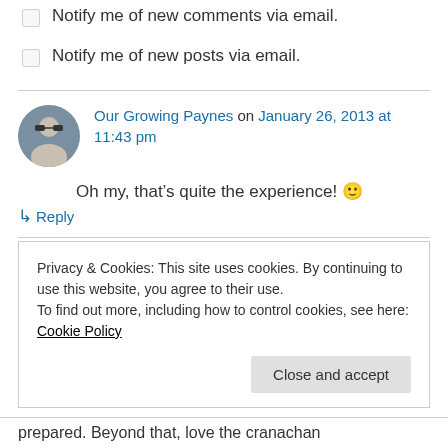Notify me of new comments via email.
Notify me of new posts via email.
Our Growing Paynes on January 26, 2013 at 11:43 pm
Oh my, that’s quite the experience! 🙂
↳ Reply
ChooJohn on January 27, 2013 at 6:19 pm
Privacy & Cookies: This site uses cookies. By continuing to use this website, you agree to their use.
To find out more, including how to control cookies, see here: Cookie Policy
Close and accept
prepared. Beyond that, love the cranachan